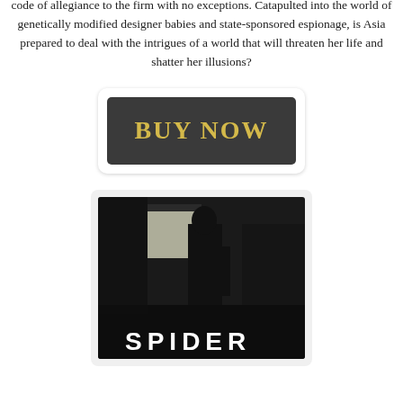code of allegiance to the firm with no exceptions. Catapulted into the world of genetically modified designer babies and state-sponsored espionage, is Asia prepared to deal with the intrigues of a world that will threaten her life and shatter her illusions?
[Figure (other): A dark rectangular 'BUY NOW' button with golden/yellow serif text on a dark gray background, inside a rounded white card with shadow.]
[Figure (photo): A dark book cover showing a silhouetted figure in a shadowy interior scene, with white bold text 'SPIDER' at the bottom.]